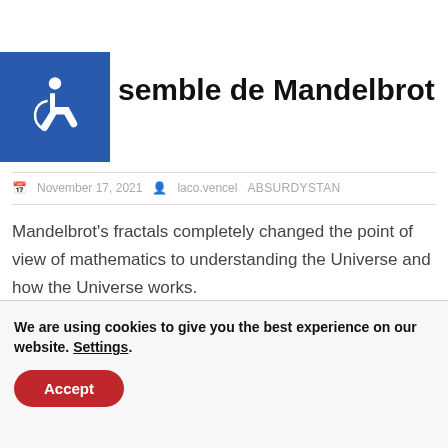[Figure (logo): Blue square with white wheelchair accessibility icon]
semble de Mandelbrot
November 17, 2021  laco.vencel  ABSURDYSTAN
Mandelbrot's fractals completely changed the point of view of mathematics to understanding the Universe and how the Universe works.
We are using cookies to give you the best experience on our website. Settings.
Accept